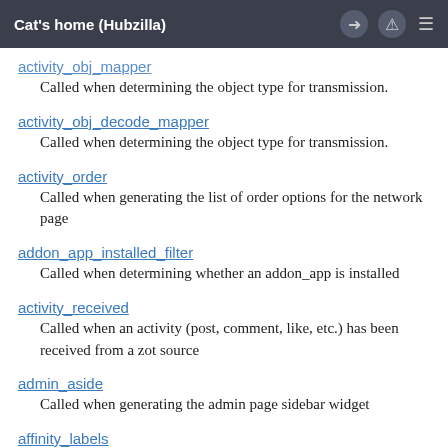Cat's home (Hubzilla)
activity_obj_mapper
Called when determining the object type for transmission.
activity_obj_decode_mapper
Called when determining the object type for transmission.
activity_order
Called when generating the list of order options for the network page
addon_app_installed_filter
Called when determining whether an addon_app is installed
activity_received
Called when an activity (post, comment, like, etc.) has been received from a zot source
admin_aside
Called when generating the admin page sidebar widget
affinity_labels
Used to generate alternate labels for the affinity slider.